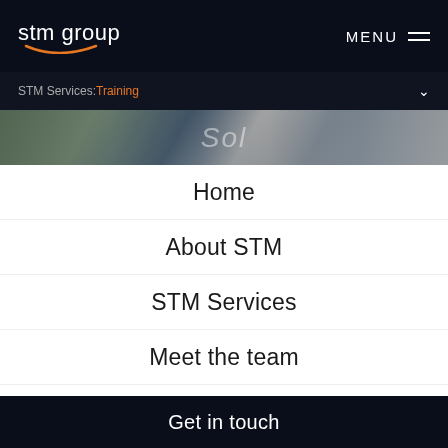stm group | MENU
STM Services: Training
[Figure (photo): Partial view of a modern office building entrance with glass doors and signage partially visible]
Home
About STM
STM Services
Meet the team
Careers
News
Employee portal
Get in touch